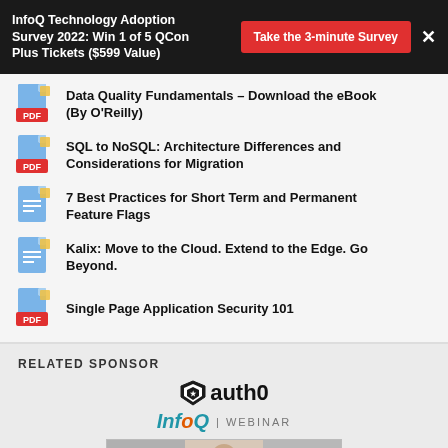InfoQ Technology Adoption Survey 2022: Win 1 of 5 QCon Plus Tickets ($599 Value)
Data Quality Fundamentals - Download the eBook (By O'Reilly)
SQL to NoSQL: Architecture Differences and Considerations for Migration
7 Best Practices for Short Term and Permanent Feature Flags
Kalix: Move to the Cloud. Extend to the Edge. Go Beyond.
Single Page Application Security 101
RELATED SPONSOR
[Figure (logo): auth0 logo and InfoQ Webinar branding with speaker photo below]